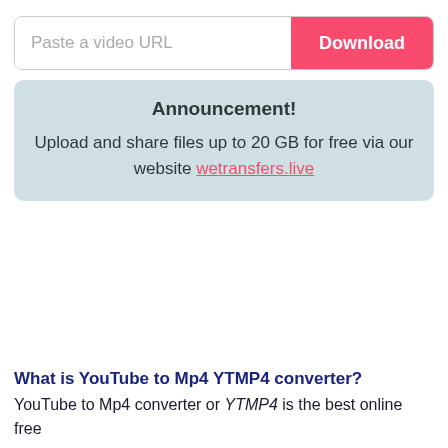[Figure (screenshot): Search bar with placeholder text 'Paste a video URL' and a pink 'Download' button on the right]
Announcement!
Upload and share files up to 20 GB for free via our website wetransfers.live
What is YouTube to Mp4 YTMP4 converter?
YouTube to Mp4 converter or YTMP4 is the best online free